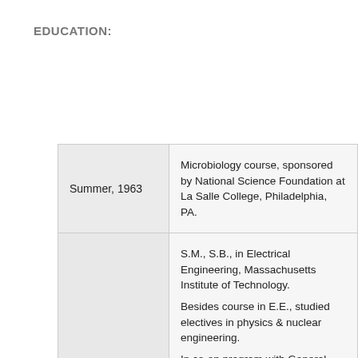EDUCATION:
| Date | Description |
| --- | --- |
| Summer, 1963 | Microbiology course, sponsored by National Science Foundation at La Salle College, Philadelphia, PA. |
| February 1969 | S.M., S.B., in Electrical Engineering, Massachusetts Institute of Technology.
Besides course in E.E., studied electives in physics & nuclear engineering.
In co-op program with General Electric Co.
Elected to following honorary societies: Eta Kappa Nu, Tau Beta Pi, and Sigma Xi.
Thesis Title: Triggered Vacuum Interrupters
.
Thesis Supervisor: G.L. Wilson. |
|  | Ph.D., Massachusetts Institute of Technology, |